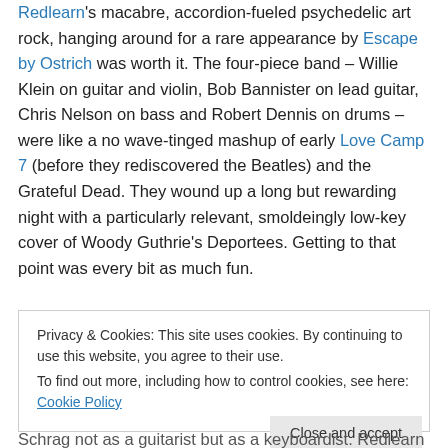Redlearn's macabre, accordion-fueled psychedelic art rock, hanging around for a rare appearance by Escape by Ostrich was worth it. The four-piece band – Willie Klein on guitar and violin, Bob Bannister on lead guitar, Chris Nelson on bass and Robert Dennis on drums – were like a no wave-tinged mashup of early Love Camp 7 (before they rediscovered the Beatles) and the Grateful Dead. They wound up a long but rewarding night with a particularly relevant, smoldeingly low-key cover of Woody Guthrie's Deportees. Getting to that point was every bit as much fun.
Privacy & Cookies: This site uses cookies. By continuing to use this website, you agree to their use.
To find out more, including how to control cookies, see here: Cookie Policy
Close and accept
Schrag not as a guitarist but as a keyboardist. Redlearn